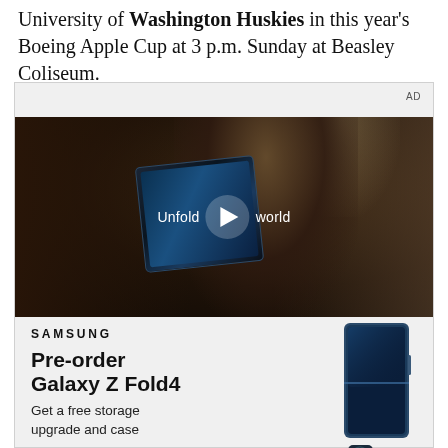University of Washington Huskies in this year's Boeing Apple Cup at 3 p.m. Sunday at Beasley Coliseum.
[Figure (other): Advertisement: Samsung video ad showing a woman in a car holding a Samsung Galaxy Z Fold4 phone, with text 'Unfold your world' and a play button overlay. Below the video, text reads: SAMSUNG, Pre-order Galaxy Z Fold4, Get a free storage upgrade and case]
AD
SAMSUNG
Pre-order Galaxy Z Fold4
Get a free storage upgrade and case